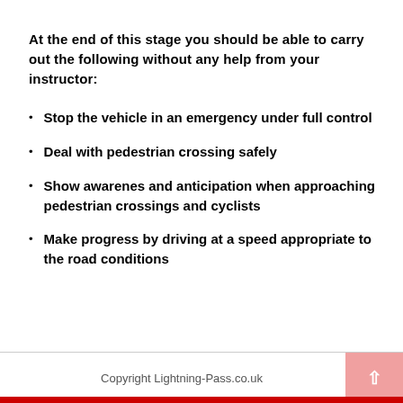At the end of this stage you should be able to carry out the following without any help from your instructor:
Stop the vehicle in an emergency under full control
Deal with pedestrian crossing safely
Show awarenes and anticipation when approaching pedestrian crossings and cyclists
Make progress by driving at a speed appropriate to the road conditions
Copyright Lightning-Pass.co.uk